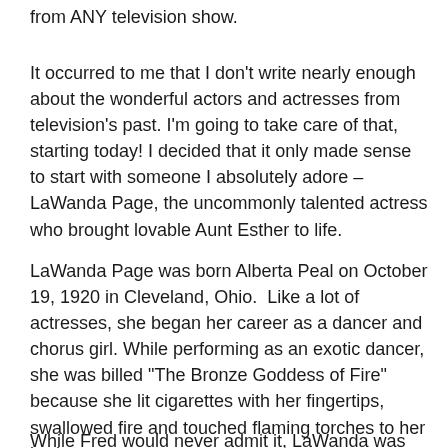from ANY television show.
It occurred to me that I don’t write nearly enough about the wonderful actors and actresses from television’s past. I’m going to take care of that, starting today! I decided that it only made sense to start with someone I absolutely adore – LaWanda Page, the uncommonly talented actress who brought lovable Aunt Esther to life.
LaWanda Page was born Alberta Peal on October 19, 1920 in Cleveland, Ohio.  Like a lot of actresses, she began her career as a dancer and chorus girl. While performing as an exotic dancer, she was billed “The Bronze Goddess of Fire” because she lit cigarettes with her fingertips, swallowed fire and touched flaming torches to her body.
While Fred would never admit it, LaWanda was actually